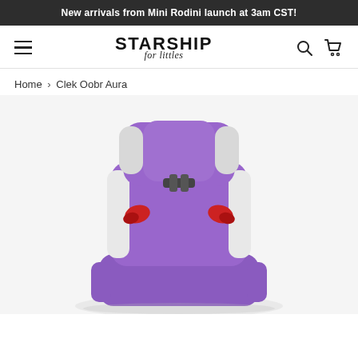New arrivals from Mini Rodini launch at 3am CST!
[Figure (screenshot): Starship for Littles e-commerce website navigation bar with hamburger menu, logo, search icon, and cart icon]
Home › Clek Oobr Aura
[Figure (photo): Clek Oobr Aura purple child booster car seat with red accents, high-back design with removable back section, shown on white background]